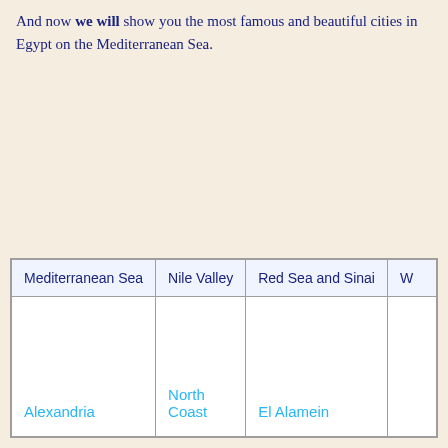And now we will show you the most famous and beautiful cities in Egypt on the Mediterranean Sea.
| Mediterranean Sea | Nile Valley | Red Sea and Sinai | W… |
| --- | --- | --- | --- |
| Alexandria | North Coast | El Alamein |  |